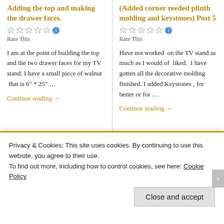Adding the top and making the drawer faces.
Rate This
I am at the point of building the top and the two drawer faces for my TV stand. I have a small piece of walnut  that is 6" * 25" …
Continue reading →
(Added corner reeded plinth molding and keystones) Post 5
Rate This
Have not worked  on the TV stand as much as I would of  liked.  I have gotten all the decorative molding finished. I added Keystones , for better or for …
Continue reading →
MARCH 2, 2013 · LEAVE A COMMENT
FEBRUARY 27, 2013 · LEAVE A COMMENT
Privacy & Cookies: This site uses cookies. By continuing to use this website, you agree to their use.
To find out more, including how to control cookies, see here: Cookie Policy
Close and accept